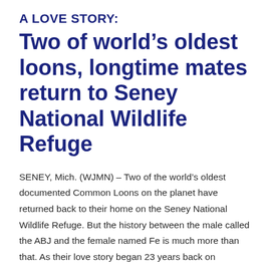A LOVE STORY:
Two of world’s oldest loons, longtime mates return to Seney National Wildlife Refuge
SENEY, Mich. (WJMN) – Two of the world’s oldest documented Common Loons on the planet have returned back to their home on the Seney National Wildlife Refuge. But the history between the male called the ABJ and the female named Fe is much more than that. As their love story began 23 years back on